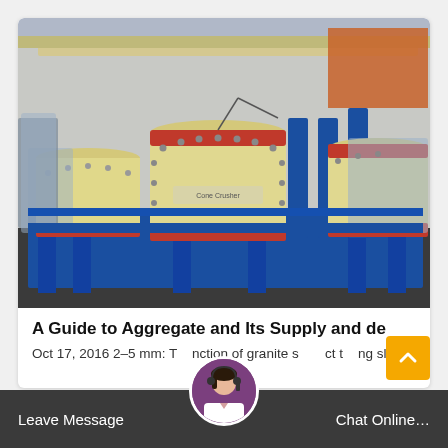[Figure (photo): Industrial cone crushers on blue metal frames in a factory or warehouse setting. The machines are cream/beige colored with red accent rings, bolted cylindrical bodies, and are arranged in a row. Some units are wrapped in protective plastic sheeting. Background shows a factory building exterior.]
A Guide to Aggregate and Its Supply and de
Oct 17, 2016 2–5 mm: T    ction of granite s     ct t    ng sla